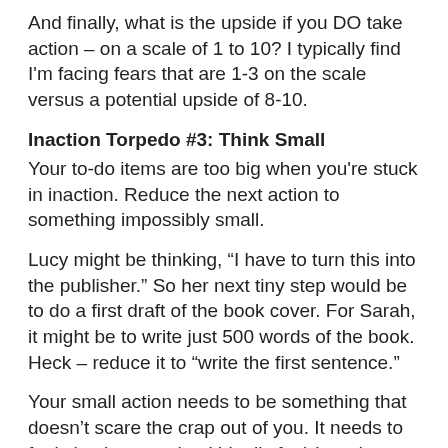And finally, what is the upside if you DO take action – on a scale of 1 to 10? I typically find I'm facing fears that are 1-3 on the scale versus a potential upside of 8-10.
Inaction Torpedo #3: Think Small
Your to-do items are too big when you're stuck in inaction. Reduce the next action to something impossibly small.
Lucy might be thinking, “I have to turn this into the publisher.” So her next tiny step would be to do a first draft of the book cover. For Sarah, it might be to write just 500 words of the book. Heck – reduce it to “write the first sentence.”
Your small action needs to be something that doesn’t scare the crap out of you. It needs to feel simple, easy (and ideally fun) in order to jumpstart yourself into action.